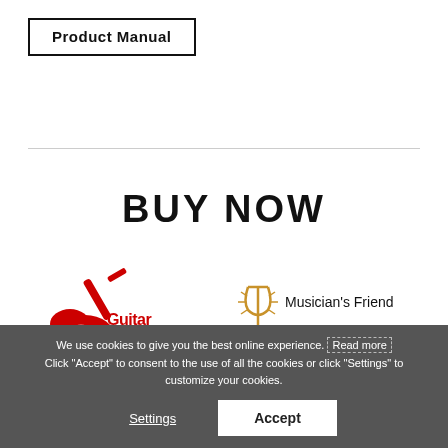Product Manual
BUY NOW
[Figure (logo): Guitar Center logo - red guitar shape with Guitar Center text]
[Figure (logo): Musician's Friend logo - gold tuning fork symbol with text]
[Figure (logo): Music & Arts logo - black bold text]
[Figure (logo): Woodwind & Brasswind logo - black text with blue ampersand symbol]
We use cookies to give you the best online experience. Read more Click "Accept" to consent to the use of all the cookies or click "Settings" to customize your cookies.